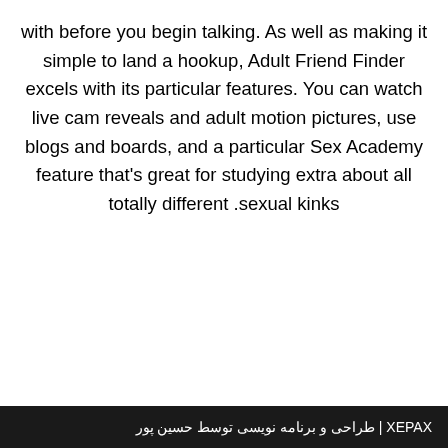with before you begin talking. As well as making it simple to land a hookup, Adult Friend Finder excels with its particular features. You can watch live cam reveals and adult motion pictures, use blogs and boards, and a particular Sex Academy feature that's great for studying extra about all totally different sexual kinks.
XAPEX | طراحی و برنامه نویسی توسط حسین پور